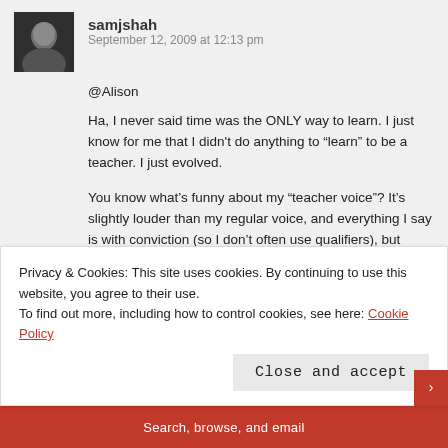samjshah
September 12, 2009 at 12:13 pm
@Alison
Ha, I never said time was the ONLY way to learn. I just know for me that I didn't do anything to “learn” to be a teacher. I just evolved.

You know what’s funny about my “teacher voice”? It’s slightly louder than my regular voice, and everything I say is with conviction (so I don’t often use qualifiers), but other than that, it’s my regular voice. It’s me. Some of my colleagues talk about “pulling out their teacher voice” when they’re in
Privacy & Cookies: This site uses cookies. By continuing to use this website, you agree to their use.
To find out more, including how to control cookies, see here: Cookie Policy
Close and accept
Search, browse, and email